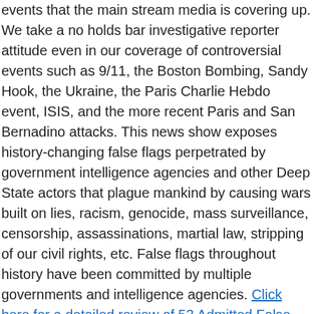events that the main stream media is covering up. We take a no holds bar investigative reporter attitude even in our coverage of controversial events such as 9/11, the Boston Bombing, Sandy Hook, the Ukraine, the Paris Charlie Hebdo event, ISIS, and the more recent Paris and San Bernadino attacks. This news show exposes history-changing false flags perpetrated by government intelligence agencies and other Deep State actors that plague mankind by causing wars built on lies, racism, genocide, mass surveillance, censorship, assassinations, martial law, stripping of our civil rights, etc. False flags throughout history have been committed by multiple governments and intelligence agencies. Click here for a detailed review of 53 Admitted False Flags.
DR. KEVIN BARRETT, Chief News Anchor and Researcher–Dr. Kevin Barrett, a Ph.D. Arabist-Islamologist, is one of America's best-known critics of the War on Terror. Dr. Barrett has appeared many times on Fox, CNN, PBS and other broadcast outlets, and has inspired feature stories and op-eds in the New York Times, the Christian Science